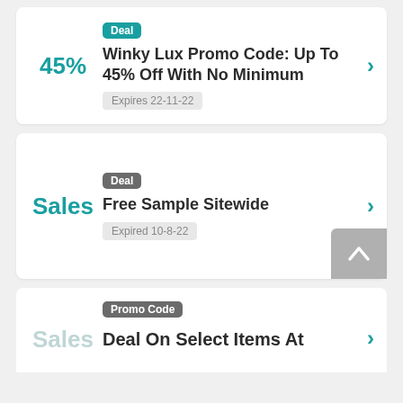Deal
Winky Lux Promo Code: Up To 45% Off With No Minimum
Expires 22-11-22
Deal
Free Sample Sitewide
Expired 10-8-22
Promo Code
Deal On Select Items At